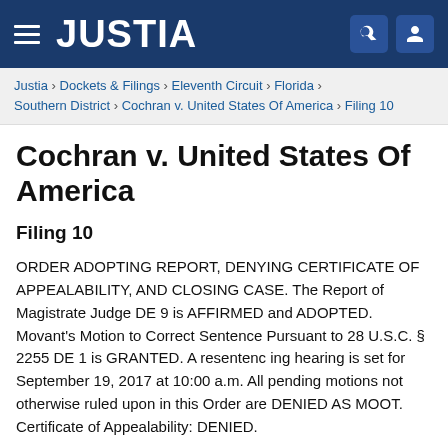JUSTIA
Justia › Dockets & Filings › Eleventh Circuit › Florida › Southern District › Cochran v. United States Of America › Filing 10
Cochran v. United States Of America
Filing 10
ORDER ADOPTING REPORT, DENYING CERTIFICATE OF APPEALABILITY, AND CLOSING CASE. The Report of Magistrate Judge DE 9 is AFFIRMED and ADOPTED. Movant's Motion to Correct Sentence Pursuant to 28 U.S.C. § 2255 DE 1 is GRANTED. A resentencing hearing is set for September 19, 2017 at 10:00 a.m. All pending motions not otherwise ruled upon in this Order are DENIED AS MOOT. Certificate of Appealability: DENIED.